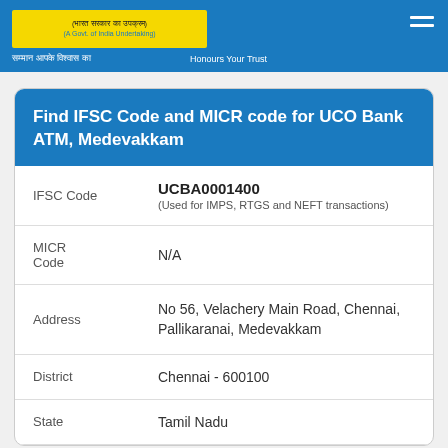UCO Bank (A Govt. of India Undertaking) — Samman Aapke Vishwas Ka | Honours Your Trust
Find IFSC Code and MICR code for UCO Bank ATM, Medevakkam
| Field | Value |
| --- | --- |
| IFSC Code | UCBA0001400
(Used for IMPS, RTGS and NEFT transactions) |
| MICR Code | N/A |
| Address | No 56, Velachery Main Road, Chennai, Pallikaranai, Medevakkam |
| District | Chennai - 600100 |
| State | Tamil Nadu |